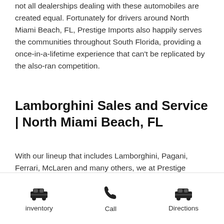not all dealerships dealing with these automobiles are created equal. Fortunately for drivers around North Miami Beach, FL, Prestige Imports also happily serves the communities throughout South Florida, providing a once-in-a-lifetime experience that can't be replicated by the also-ran competition.
Lamborghini Sales and Service | North Miami Beach, FL
With our lineup that includes Lamborghini, Pagani, Ferrari, McLaren and many others, we at Prestige Imports understand that more is expected when a driver enters our dealership. This is a challenge that we face head-on, and drivers around the Miami metro area are taking notice. Whether a driver is
[Figure (other): Bottom navigation bar with three items: a car icon labeled 'inventory', a phone icon labeled 'Call', and a car icon labeled 'Directions']